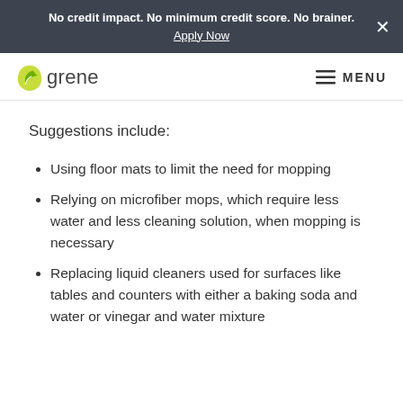No credit impact. No minimum credit score. No brainer. Apply Now
[Figure (logo): Ygrene logo with green leaf icon and text 'Ygrene']
Suggestions include:
Using floor mats to limit the need for mopping
Relying on microfiber mops, which require less water and less cleaning solution, when mopping is necessary
Replacing liquid cleaners used for surfaces like tables and counters with either a baking soda and water or vinegar and water mixture